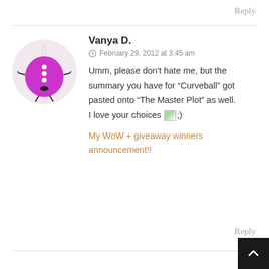Reply
[Figure (illustration): Cartoon avatar of a purple round monster with small arms, legs, and buttons, inside a light pink circle]
Vanya D.
February 29, 2012 at 3:45 am
Umm, please don't hate me, but the summary you have for “Curveball” got pasted onto “The Master Plot” as well.
I love your choices 😉;)
My WoW + giveaway winners announcement!!
Reply